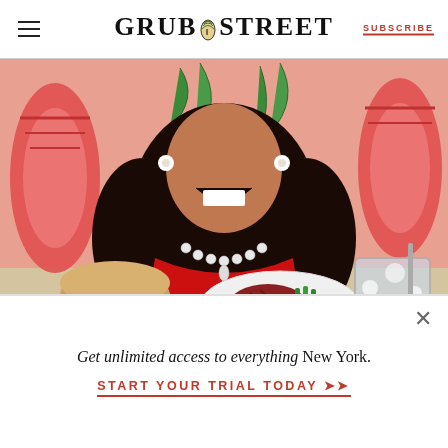GRUB STREET | SUBSCRIBE
[Figure (illustration): Digital illustration of a Black woman in a red off-shoulder dress with a pearl necklace, laughing with mouth open. She sits at a table with a plate of steak and green beans, a bread roll with cheese, ketchup packets, a fizzy drink with a straw, and large shrimp in the background on a peachy-pink background.]
THE GRUB STREET DIET | AUG. 19, 2022
Get unlimited access to everything New York.
START YOUR TRIAL TODAY ➤➤